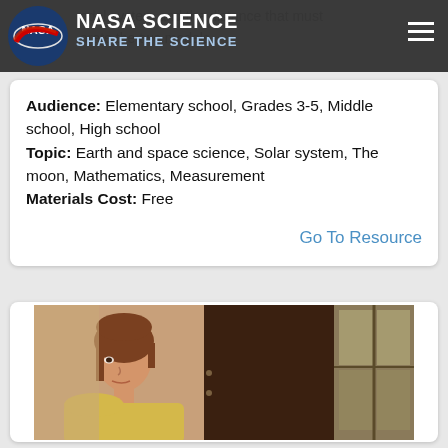NASA SCIENCE — SHARE THE SCIENCE
odel system and the distance that must
arate the two models.
Audience: Elementary school, Grades 3-5, Middle school, High school
Topic: Earth and space science, Solar system, The moon, Mathematics, Measurement
Materials Cost: Free
Go To Resource
[Figure (photo): A woman with short brown hair in profile/three-quarter view, wearing a yellow top, standing in front of a dark wooden door and a window with panes visible on the right.]